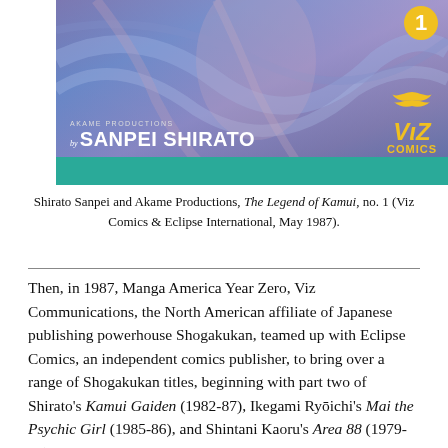[Figure (illustration): Cover of The Legend of Kamui no. 1 by Sanpei Shirato / Akame Productions, published by Viz Comics & Eclipse International, May 1987. Shows manga artwork with purple/blue tones, a teal bottom bar, Akame Productions and 'by SANPEI SHIRATO' text on left, Viz Comics logo (yellow bird and text) on right, and a yellow number 1 badge at top right.]
Shirato Sanpei and Akame Productions, The Legend of Kamui, no. 1 (Viz Comics & Eclipse International, May 1987).
Then, in 1987, Manga America Year Zero, Viz Communications, the North American affiliate of Japanese publishing powerhouse Shogakukan, teamed up with Eclipse Comics, an independent comics publisher, to bring over a range of Shogakukan titles, beginning with part two of Shirato's Kamui Gaiden (1982-87), Ikegami Ryōichi's Mai the Psychic Girl (1985-86), and Shintani Kaoru's Area 88 (1979-86). Serialized over thirty-seven, biweekly, American-style floppy comics, Shirato's